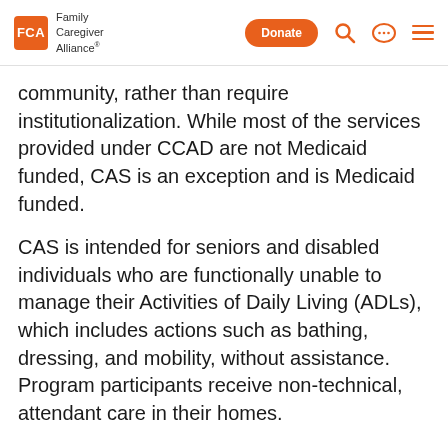FCA Family Caregiver Alliance | Donate | [search] [chat] [menu]
community, rather than require institutionalization. While most of the services provided under CCAD are not Medicaid funded, CAS is an exception and is Medicaid funded.
CAS is intended for seniors and disabled individuals who are functionally unable to manage their Activities of Daily Living (ADLs), which includes actions such as bathing, dressing, and mobility, without assistance. Program participants receive non-technical, attendant care in their homes.
Enrolled individuals have the option of using